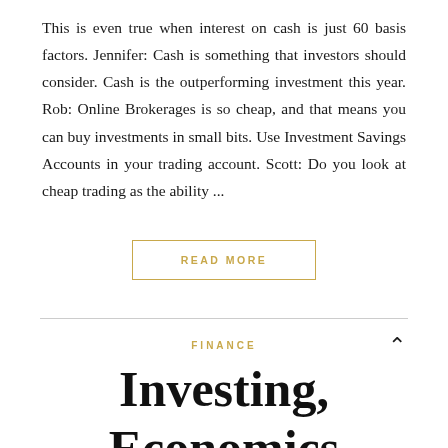This is even true when interest on cash is just 60 basis factors. Jennifer: Cash is something that investors should consider. Cash is the outperforming investment this year. Rob: Online Brokerages is so cheap, and that means you can buy investments in small bits. Use Investment Savings Accounts in your trading account. Scott: Do you look at cheap trading as the ability ...
READ MORE
FINANCE
Investing, Economics Mostly